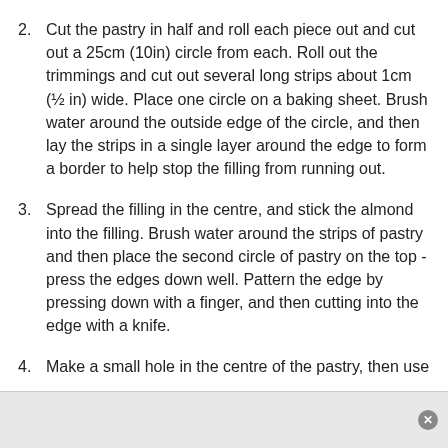2. Cut the pastry in half and roll each piece out and cut out a 25cm (10in) circle from each. Roll out the trimmings and cut out several long strips about 1cm (½ in) wide. Place one circle on a baking sheet. Brush water around the outside edge of the circle, and then lay the strips in a single layer around the edge to form a border to help stop the filling from running out.
3. Spread the filling in the centre, and stick the almond into the filling. Brush water around the strips of pastry and then place the second circle of pastry on the top - press the edges down well. Pattern the edge by pressing down with a finger, and then cutting into the edge with a knife.
4. Make a small hole in the centre of the pastry, then use